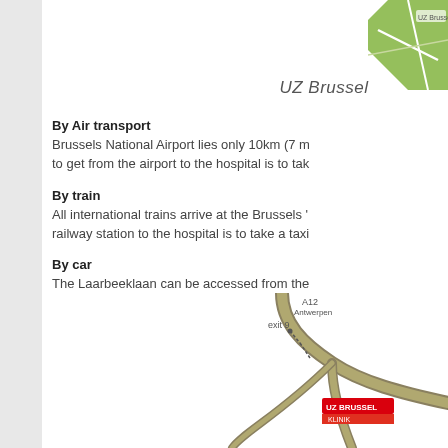[Figure (map): Top-right corner green map fragment of UZ Brussel area]
UZ Brussel
By Air transport
Brussels National Airport lies only 10km (7 m to get from the airport to the hospital is to tak
By train
All international trains arrive at the Brussels railway station to the hospital is to take a taxi
By car
The Laarbeeklaan can be accessed from the Coming from Zaventem on exit 9, follow the S traffic lights, turn right and drive onto the Dik Coming from Gent on exit 9, follow the Dikke UZ Brussel.
[Figure (map): Bottom road map showing exit 9, A12 Antwerpen direction, and UZ Brussel location marker]